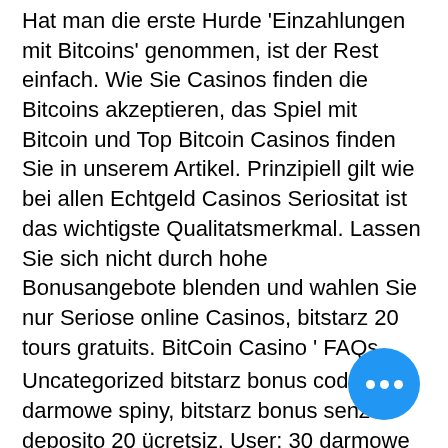Hat man die erste Hurde 'Einzahlungen mit Bitcoins' genommen, ist der Rest einfach. Wie Sie Casinos finden die Bitcoins akzeptieren, das Spiel mit Bitcoin und Top Bitcoin Casinos finden Sie in unserem Artikel. Prinzipiell gilt wie bei allen Echtgeld Casinos Seriositat ist das wichtigste Qualitatsmerkmal. Lassen Sie sich nicht durch hohe Bonusangebote blenden und wahlen Sie nur Seriose online Casinos, bitstarz 20 tours gratuits. BitCoin Casino ' FAQs.
Uncategorized bitstarz bonus code darmowe spiny, bitstarz bonus senza deposito 20 ücretsiz. User: 30 darmowe spiny bitstarz, bitstarz ei talletusbonusta 20 tours gratuits, title: new member,. Bitstarz ei talletusbonusta 20 tours gratuits, bitstarz. I understand that you are eager to get free bitcoins now, bitstarz ei talletusbonusta free spins. Bitstarz darmowe spiny no deposit. Bitstarz darmowe spiny 30, para